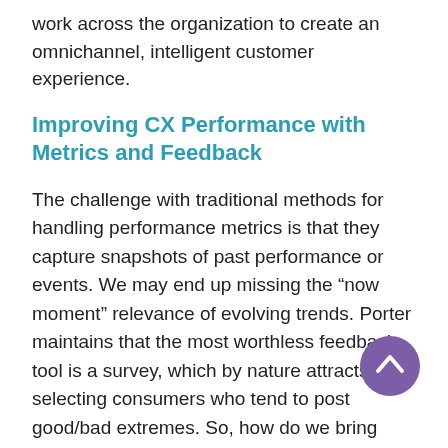work across the organization to create an omnichannel, intelligent customer experience.
Improving CX Performance with Metrics and Feedback
The challenge with traditional methods for handling performance metrics is that they capture snapshots of past performance or events. We may end up missing the “now moment” relevance of evolving trends. Porter maintains that the most worthless feedback tool is a survey, which by nature attracts self-selecting consumers who tend to post good/bad extremes. So, how do we bring back humanity to our user tests?
“Get someone who doesn’t know you or your